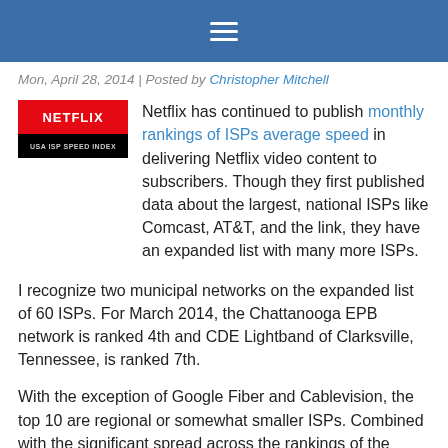≡
Mon, April 28, 2014 | Posted by Christopher Mitchell
[Figure (logo): Netflix USA ISP Speed Index logo — red Netflix wordmark on red background, with 'USA ISP SPEED INDEX' text below on black background]
Netflix has continued to publish monthly rankings of ISPs average speed in delivering Netflix video content to subscribers. Though they first published data about the largest, national ISPs like Comcast, AT&T, and the link, they have an expanded list with many more ISPs.
I recognize two municipal networks on the expanded list of 60 ISPs. For March 2014, the Chattanooga EPB network is ranked 4th and CDE Lightband of Clarksville, Tennessee, is ranked 7th.
With the exception of Google Fiber and Cablevision, the top 10 are regional or somewhat smaller ISPs. Combined with the significant spread across the rankings of the biggest ISP, we see no